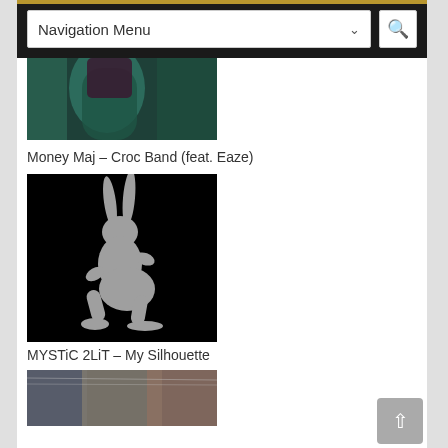Navigation Menu
[Figure (photo): Thumbnail image of a person wearing a green fur coat - Money Maj Croc Band music video]
Money Maj – Croc Band (feat. Eaze)
[Figure (illustration): Black background with a gray silhouette of a figure in a crouching/dancing pose with bunny ears - MYSTiC 2LiT My Silhouette]
MYSTiC 2LiT – My Silhouette
[Figure (photo): Thumbnail of people outdoors - third music video entry]